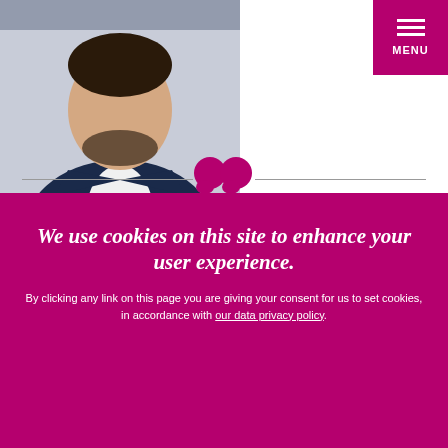[Figure (photo): Headshot photo of Eric Perrier, a man in a dark navy blazer and white shirt, cropped from chest up, dark hair and beard]
Eric Perrier
[Figure (illustration): Magenta double quotation mark decorative element with horizontal divider lines on either side]
We use cookies on this site to enhance your user experience.
By clicking any link on this page you are giving your consent for us to set cookies, in accordance with our data privacy policy.